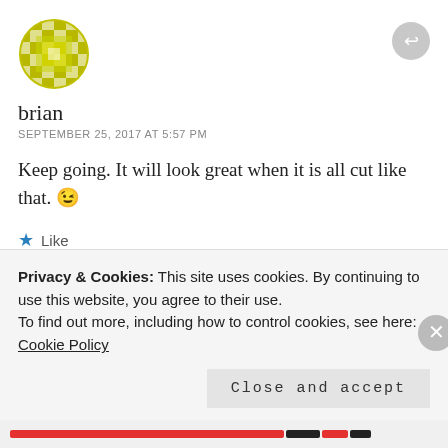[Figure (illustration): Yellow/green checkered circular avatar icon for user 'brian']
brian
SEPTEMBER 25, 2017 AT 5:57 PM
Keep going. It will look great when it is all cut like that. 😉
★ Like
[Figure (illustration): Partial yellow/green checkered circular avatar icon, second commenter]
Privacy & Cookies: This site uses cookies. By continuing to use this website, you agree to their use.
To find out more, including how to control cookies, see here: Cookie Policy
Close and accept